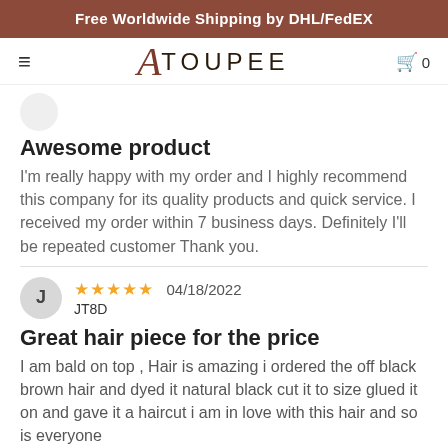Free Worldwide Shipping by DHL/FedEX
[Figure (logo): ATOUPEE brand logo with stylized A and cart icon, hamburger menu]
Awesome product
I'm really happy with my order and I highly recommend this company for its quality products and quick service. I received my order within 7 business days. Definitely I'll be repeated customer Thank you.
★★★★★ 04/18/2022
JT8D
Great hair piece for the price
I am bald on top , Hair is amazing i ordered the off black brown hair and dyed it natural black cut it to size glued it on and gave it a haircut i am in love with this hair and so is everyone